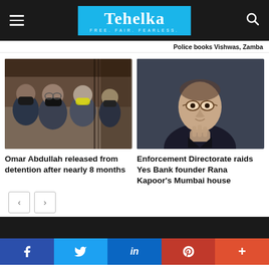Tehelka — FREE. FAIR. FEARLESS.
Police books Vishwas, Zamba
[Figure (photo): Group of masked men standing outside a building, Omar Abdullah visible]
Omar Abdullah released from detention after nearly 8 months
[Figure (photo): Man in suit gesturing with his hand, Rana Kapoor Yes Bank founder]
Enforcement Directorate raids Yes Bank founder Rana Kapoor's Mumbai house
Social share bar: Facebook, Twitter, LinkedIn, Pinterest, More